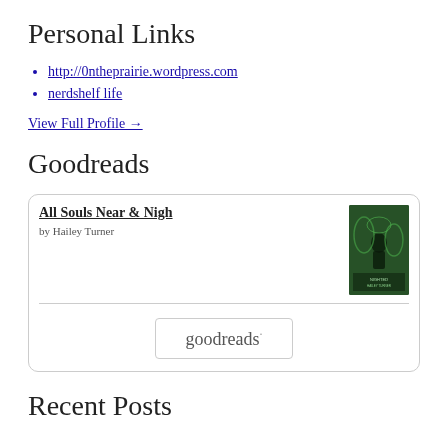Personal Links
http://0ntheprairie.wordpress.com
nerdshelf life
View Full Profile →
Goodreads
[Figure (other): Goodreads widget showing book 'All Souls Near & Nigh' by Hailey Turner with book cover image and Goodreads button]
Recent Posts